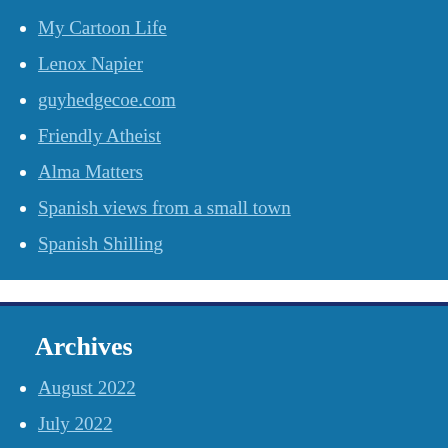My Cartoon Life
Lenox Napier
guyhedgecoe.com
Friendly Atheist
Alma Matters
Spanish views from a small town
Spanish Shilling
Archives
August 2022
July 2022
June 2022
May 2022